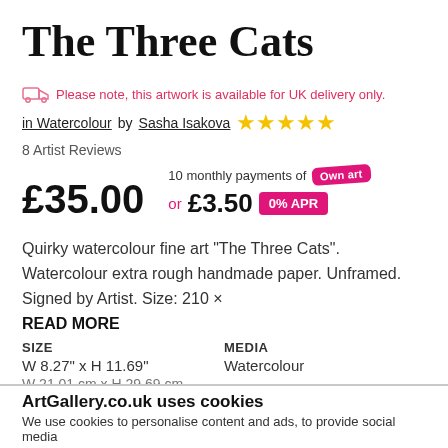The Three Cats
Please note, this artwork is available for UK delivery only.
in Watercolour by Sasha Isakova  ★★★★★  8 Artist Reviews
£35.00  10 monthly payments of Own art  or £3.50  0% APR
Quirky watercolour fine art "The Three Cats". Watercolour extra rough handmade paper. Unframed. Signed by Artist. Size: 210 × READ MORE
SIZE
W 8.27" x H 11.69"
W 21.01 cm x H 29.69 cm

MEDIA
Watercolour
ArtGallery.co.uk uses cookies
We use cookies to personalise content and ads, to provide social media